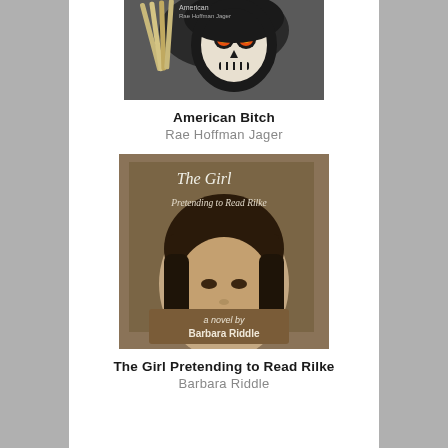[Figure (photo): Book cover of 'American Bitch' by Rae Hoffman Jager showing a skull with flaming eyes and dark hair with pencils]
American Bitch
Rae Hoffman Jager
[Figure (photo): Book cover of 'The Girl Pretending to Read Rilke' by Barbara Riddle showing a young woman with dark hair on a brown background]
The Girl Pretending to Read Rilke
Barbara Riddle